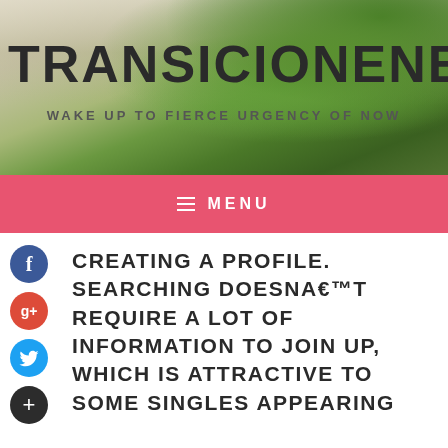TRANSICIONENERGETICAYCC
WAKE UP TO FIERCE URGENCY OF NOW
MENU
CREATING A PROFILE. SEARCHING DOESNA€™T REQUIRE A LOT OF INFORMATION TO JOIN UP, WHICH IS ATTRACTIVE TO SOME SINGLES APPEARING